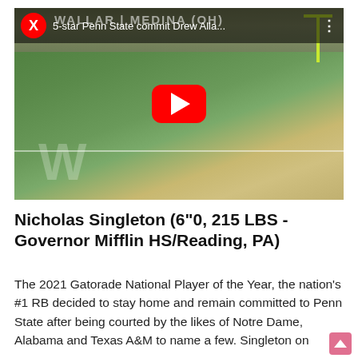[Figure (screenshot): YouTube video thumbnail showing a football game with players on the field. Red YouTube play button centered. Top bar shows red circle X badge and title '5-star Penn State commit Drew Alla...' with three-dot menu.]
Nicholas Singleton (6"0, 215 LBS -Governor Mifflin HS/Reading, PA)
The 2021 Gatorade National Player of the Year, the nation's #1 RB decided to stay home and remain committed to Penn State after being courted by the likes of Notre Dame, Alabama and Texas A&M to name a few. Singleton on